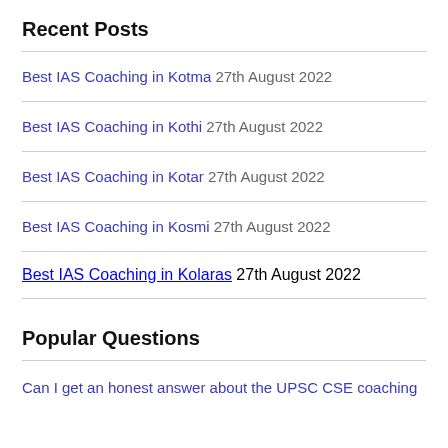Recent Posts
Best IAS Coaching in Kotma 27th August 2022
Best IAS Coaching in Kothi 27th August 2022
Best IAS Coaching in Kotar 27th August 2022
Best IAS Coaching in Kosmi 27th August 2022
Best IAS Coaching in Kolaras 27th August 2022
Popular Questions
Can I get an honest answer about the UPSC CSE coaching